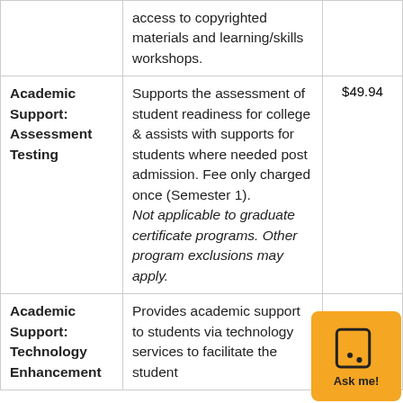| Fee Name | Description | Amount |
| --- | --- | --- |
|  | access to copyrighted materials and learning/skills workshops. |  |
| Academic Support: Assessment Testing | Supports the assessment of student readiness for college & assists with supports for students where needed post admission. Fee only charged once (Semester 1). Not applicable to graduate certificate programs. Other program exclusions may apply. | $49.94 |
| Academic Support: Technology Enhancement | Provides academic support to students via technology services to facilitate the student | $ |